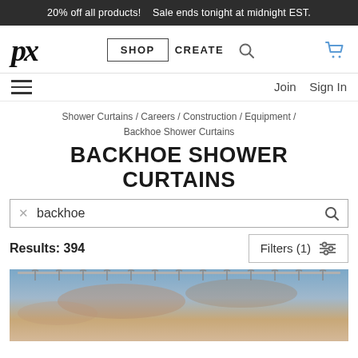20% off all products!   Sale ends tonight at midnight EST.
[Figure (screenshot): Website navigation bar with 'px' logo, SHOP button, CREATE link, search icon, and cart icon]
Join   Sign In
Shower Curtains / Careers / Construction / Equipment / Backhoe Shower Curtains
BACKHOE SHOWER CURTAINS
backhoe
Results: 394
Filters (1)
[Figure (photo): Partial view of a shower curtain with a sunset/sky background, showing curtain hooks at top]